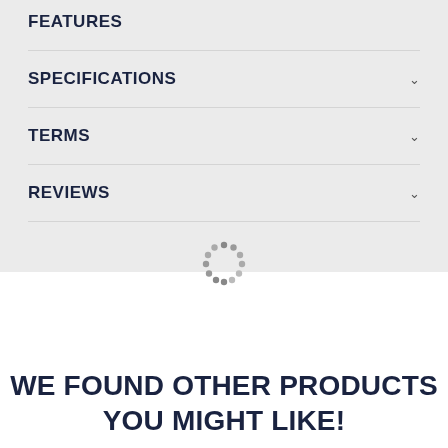FEATURES
SPECIFICATIONS
TERMS
REVIEWS
[Figure (other): Loading spinner — circular arrangement of dots in gray]
WE FOUND OTHER PRODUCTS YOU MIGHT LIKE!